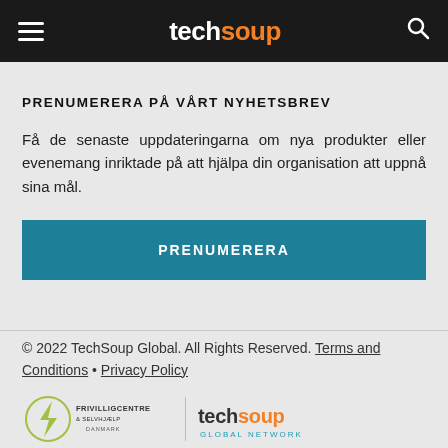techsoup
PRENUMERERA PÅ VÅRT NYHETSBREV
Få de senaste uppdateringarna om nya produkter eller evenemang inriktade på att hjälpa din organisation att uppnå sina mål.
PRENUMERERA
© 2022 TechSoup Global. All Rights Reserved. Terms and Conditions • Privacy Policy
[Figure (logo): Frivilligcentre & Selvhjælp Danmark logo and TechSoup Global Network logo]